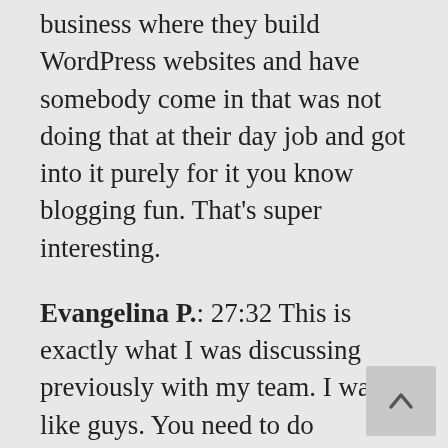business where they build WordPress websites and have somebody come in that was not doing that at their day job and got into it purely for it you know blogging fun. That's super interesting.
Evangelina P.: 27:32 This is exactly what I was discussing previously with my team. I was like guys. You need to do something for me because I cannot be the one that does all the time the articles or going to find work for the team. So, they were saying but you are good at these. I'm like yes but people will make fun of us because I'm the only one going out. They were laughing because we had divided the